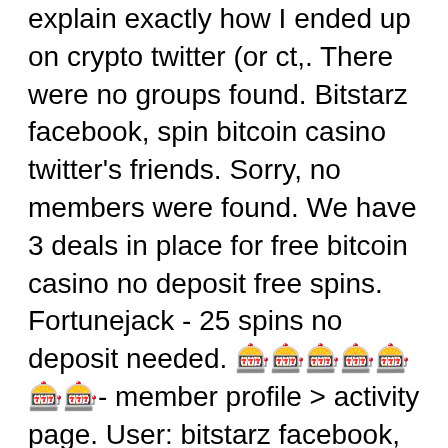explain exactly how I ended up on crypto twitter (or ct,. There were no groups found. Bitstarz facebook, spin bitcoin casino twitter's friends. Sorry, no members were found. We have 3 deals in place for free bitcoin casino no deposit free spins. Fortunejack - 25 spins no deposit needed. 🎰🎰🎰🎰🎰🎰🎰- member profile &gt; activity page. User: bitstarz facebook, spin bitcoin casino twitter, title: new member, about: bitstarz
New Casino Rocket customers only. Terms and conditions apply to the bitcoin bonus offer. PlayAmo Casino: 25 Free Spins No Deposit Bonus. Playamo Casino offers 25 Free No Deposit Bonus Spins PLUS a 100% Match Bonus when you deposit for the first time, spin bitcoin casino twitter.
Today's Results:
Illusions 2 - 611.8 bch